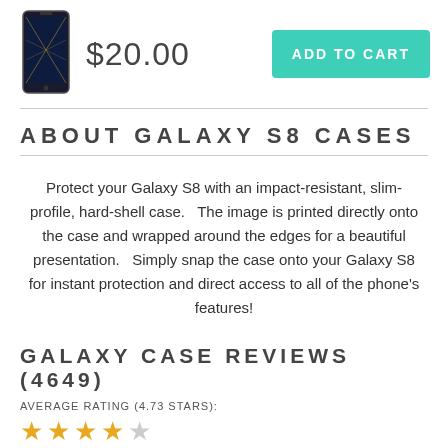[Figure (photo): Phone case product image - dark geometric pattern on Samsung Galaxy S8 case]
$20.00
ADD TO CART
ABOUT GALAXY S8 CASES
Protect your Galaxy S8 with an impact-resistant, slim-profile, hard-shell case.   The image is printed directly onto the case and wrapped around the edges for a beautiful presentation.   Simply snap the case onto your Galaxy S8 for instant protection and direct access to all of the phone's features!
GALAXY CASE REVIEWS (4649)
AVERAGE RATING (4.73 STARS):
★★★★☆
Nancy Bartell
★★★★★